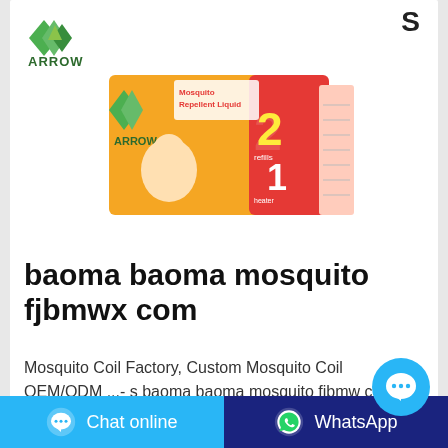[Figure (logo): Arrow brand logo with green diamond/arrow shapes and ARROW text]
[Figure (photo): Arrow brand Mosquito Repellent Liquid product box - orange and red packaging showing a baby, '2 refills + 1 heater' combo pack]
baoma baoma mosquito fjbmwx com
Mosquito Coil Factory, Custom Mosquito Coil OEM/ODM ...- s baoma baoma mosquito fjbmwx com ,Welcome to one of the largest China B2B
[Figure (illustration): Floating blue chat bubble button with ellipsis icon]
Chat online
WhatsApp